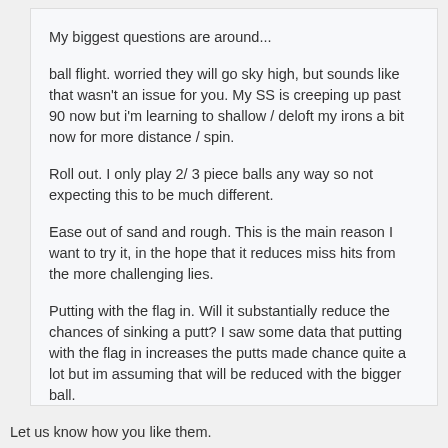My biggest questions are around...

ball flight. worried they will go sky high, but sounds like that wasn't an issue for you. My SS is creeping up past 90 now but i'm learning to shallow / deloft my irons a bit now for more distance / spin.

Roll out. I only play 2/ 3 piece balls any way so not expecting this to be much different.

Ease out of sand and rough. This is the main reason I want to try it, in the hope that it reduces miss hits from the more challenging lies.

Putting with the flag in. Will it substantially reduce the chances of sinking a putt? I saw some data that putting with the flag in increases the putts made chance quite a lot but im assuming that will be reduced with the bigger ball.
Let us know how you like them.